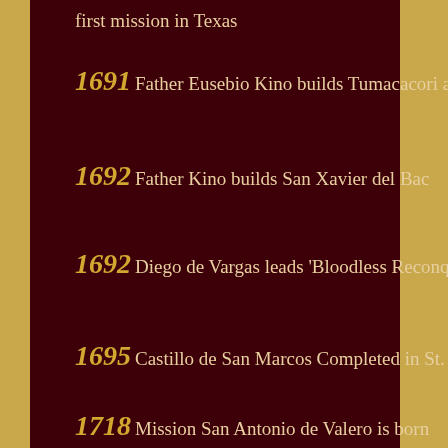first mission in Texas
1691 Father Eusebio Kino builds Tumacacori and Guevavi
1692 Father Kino builds San Xavier del Bac
1692 Diego de Vargas leads 'Bloodless Reconquest" of Santa Fe
1695 Castillo de San Marcos Completed in St. Augustine
1718 Mission San Antonio de Valero is born
[Figure (infographic): Social media icons: Facebook, LinkedIn, YouTube, Twitter, Instagram]